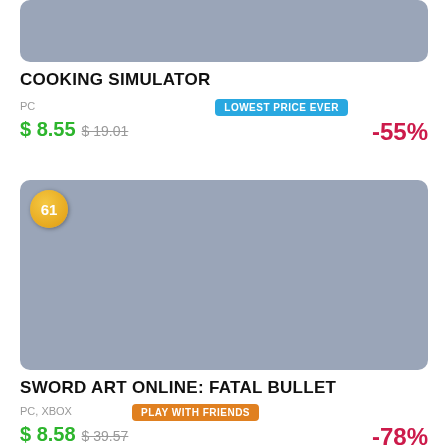[Figure (other): Partially visible game cover image for Cooking Simulator, grey/blue placeholder rectangle at top]
COOKING SIMULATOR
PC | LOWEST PRICE EVER
$ 8.55  $ 19.01  -55%
[Figure (other): Game cover image for Sword Art Online: Fatal Bullet, grey/blue placeholder rectangle with score badge showing 61]
SWORD ART ONLINE: FATAL BULLET
PC, XBOX | PLAY WITH FRIENDS
$ 8.58  $ 39.57  -78%
BEST ADVENTURE GAMES FOR PC.